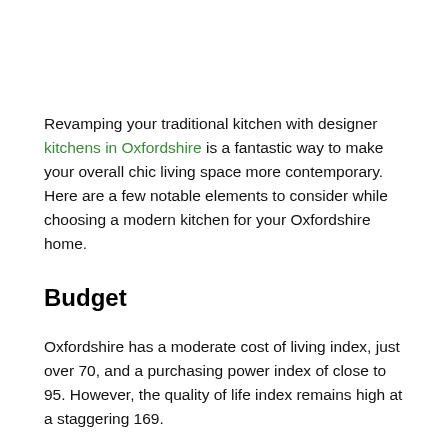Revamping your traditional kitchen with designer kitchens in Oxfordshire is a fantastic way to make your overall chic living space more contemporary. Here are a few notable elements to consider while choosing a modern kitchen for your Oxfordshire home.
Budget
Oxfordshire has a moderate cost of living index, just over 70, and a purchasing power index of close to 95. However, the quality of life index remains high at a staggering 169.